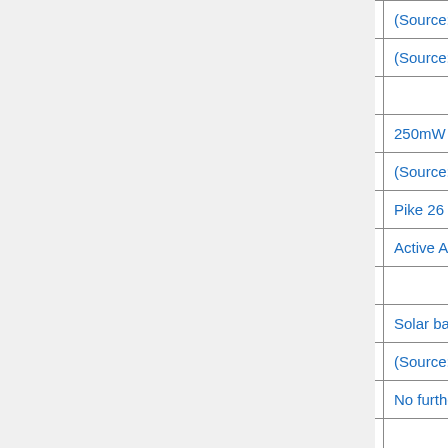| Frequency | Type | Location | Notes |
| --- | --- | --- | --- |
| 8193.8 |  |  | (Source: H... |
| 8200.1 | D | Unknown | (Source: H... |
| 8211.7 | OR |  |  |
| 8261 | F | Western Canada | 250mW in... |
| 8350 | Dasher | North Carolina | (Source: H... |
| 8497.7 | Dasher |  | Pike 26 26... |
| 8519.7 | (dasher) | N. America | Active Aug... Undergrou... |
| 10236.7 | Dasher | FL |  |
| 11002.7 | CO | Colorado | Solar batte... |
| 11428 | CZ | ? | (Source: H... |
| 13168.1 | dasher | N. America | No further... |
|  |  |  |  |